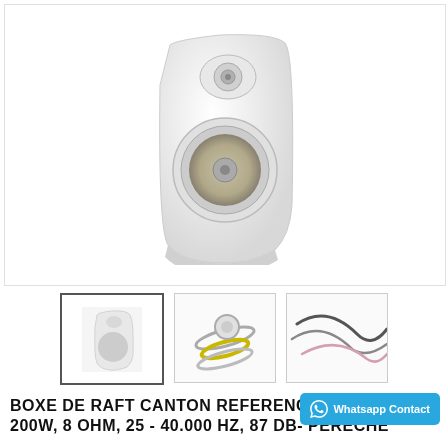[Figure (photo): White bookshelf speaker - Canton Reference model, shown at angle on white background]
[Figure (photo): Small thumbnail of the white Canton Reference speaker]
[Figure (photo): Exploded view of speaker driver components - rings, dome, surround]
[Figure (photo): Speaker cables or wires on white background]
BOXE DE RAFT CANTON REFERENCE 200W, 8 OHM, 25 - 40.000 HZ, 87 DB- PERECHE